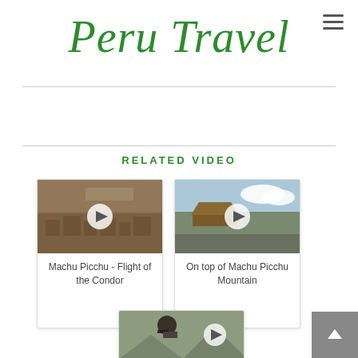Peru Travel
RELATED VIDEO
[Figure (screenshot): Video thumbnail for Machu Picchu - Flight of the Condor showing aerial ruins view with play button]
Machu Picchu - Flight of the Condor
[Figure (screenshot): Video thumbnail for On top of Machu Picchu Mountain showing hillside shelter with clouds and play button]
On top of Machu Picchu Mountain
[Figure (screenshot): Partial video thumbnail showing person with sunglasses outdoors with play button, partially cropped at bottom of page]